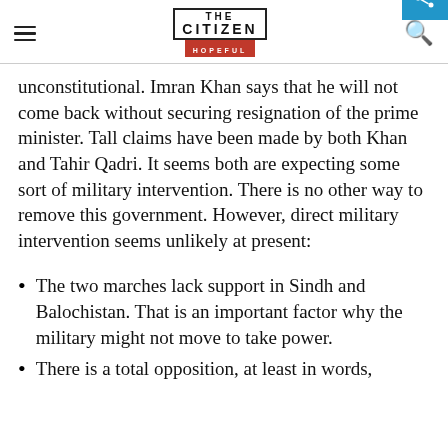THE CITIZEN IS HOPEFUL
unconstitutional. Imran Khan says that he will not come back without securing resignation of the prime minister. Tall claims have been made by both Khan and Tahir Qadri. It seems both are expecting some sort of military intervention. There is no other way to remove this government. However, direct military intervention seems unlikely at present:
The two marches lack support in Sindh and Balochistan. That is an important factor why the military might not move to take power.
There is a total opposition, at least in words,